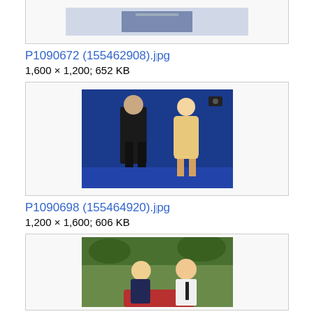[Figure (photo): Partial view of a photo at top of page, cropped — a person in a dark suit at a blue-backdrop event]
P1090672 (155462908).jpg
1,600 × 1,200; 652 KB
[Figure (photo): Man in dark suit and blonde woman in floral strapless dress walking, photographed from behind at a press event with blue backdrop and cameras]
P1090698 (155464920).jpg
1,200 × 1,600; 606 KB
[Figure (photo): Blonde woman in dark top and man in white shirt with tie, leaning close together outdoors]